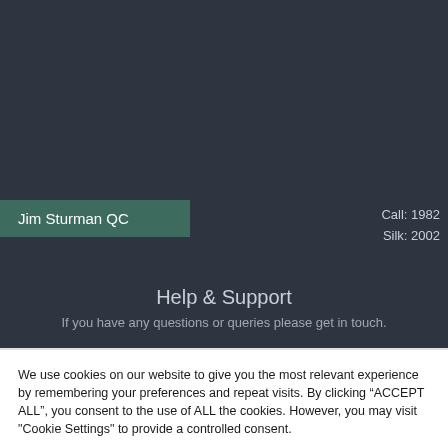Jim Sturman QC
Call: 1982
Silk: 2002
Help & Support
If you have any questions or queries please get in touch.
We use cookies on our website to give you the most relevant experience by remembering your preferences and repeat visits. By clicking “ACCEPT ALL”, you consent to the use of ALL the cookies. However, you may visit "Cookie Settings" to provide a controlled consent.
Cookie Settings
REJECT ALL
ACCEPT ALL